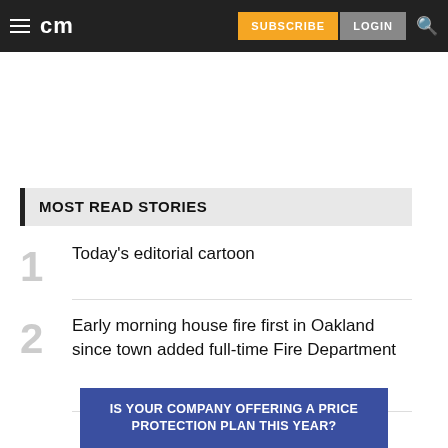cm | SUBSCRIBE | LOGIN
MOST READ STORIES
Today's editorial cartoon
Early morning house fire first in Oakland since town added full-time Fire Department
[Figure (infographic): Blue advertisement banner: IS YOUR COMPANY OFFERING A PRICE PROTECTION PLAN THIS YEAR?]